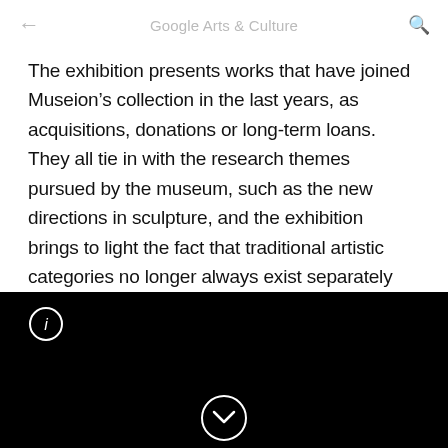Google Arts & Culture
The exhibition presents works that have joined Museion’s collection in the last years, as acquisitions, donations or long-term loans. They all tie in with the research themes pursued by the museum, such as the new directions in sculpture, and the exhibition brings to light the fact that traditional artistic categories no longer always exist separately from one another.
[Figure (screenshot): Black panel at bottom with an info icon (circle with i) in the top-left and a downward chevron button (circle with v) centered at the bottom]